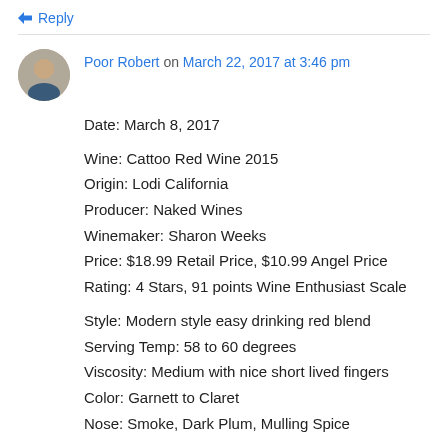↳ Reply
Poor Robert on March 22, 2017 at 3:46 pm
Date: March 8, 2017
Wine: Cattoo Red Wine 2015
Origin: Lodi California
Producer: Naked Wines
Winemaker: Sharon Weeks
Price: $18.99 Retail Price, $10.99 Angel Price
Rating: 4 Stars, 91 points Wine Enthusiast Scale
Style: Modern style easy drinking red blend
Serving Temp: 58 to 60 degrees
Viscosity: Medium with nice short lived fingers
Color: Garnett to Claret
Nose: Smoke, Dark Plum, Mulling Spice